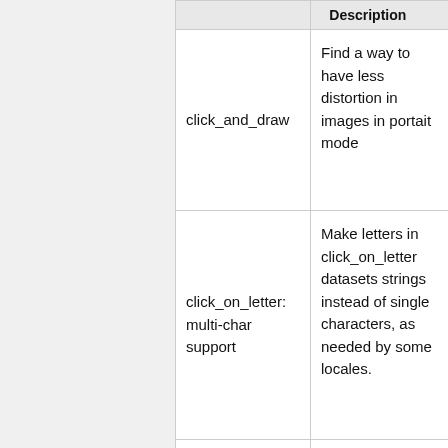|  | Description |  |
| --- | --- | --- |
| click_and_draw | Find a way to have less distortion in images in portait mode |  |
| click_on_letter: multi-char support | Make letters in click_on_letter datasets strings instead of single characters, as needed by some locales. |  |
| No sound on Windows | Need to find an audio format supported by |  |